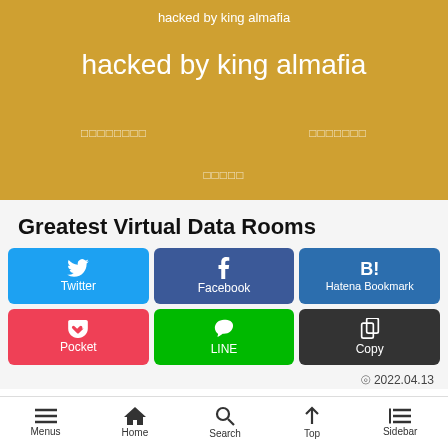hacked by king almafia
hacked by king almafia
Greatest Virtual Data Rooms
[Figure (other): Social share buttons: Twitter, Facebook, Hatena Bookmark, Pocket, LINE, Copy]
2022.04.13
Menus  Home  Search  Top  Sidebar